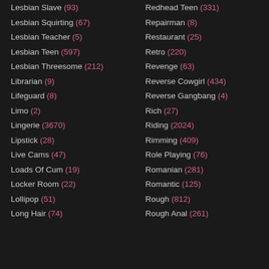Lesbian Slave (93)
Lesbian Squirting (67)
Lesbian Teacher (5)
Lesbian Teen (597)
Lesbian Threesome (212)
Librarian (9)
Lifeguard (8)
Limo (2)
Lingerie (3670)
Lipstick (28)
Live Cams (47)
Loads Of Cum (19)
Locker Room (22)
Lollipop (51)
Long Hair (74)
Redhead Teen (331)
Repairman (8)
Restaurant (25)
Retro (220)
Revenge (63)
Reverse Cowgirl (434)
Reverse Gangbang (4)
Rich (27)
Riding (2024)
Rimming (409)
Role Playing (76)
Romanian (281)
Romantic (125)
Rough (812)
Rough Anal (261)